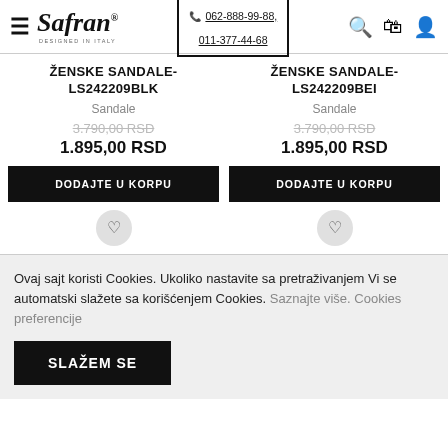Safran – 062-888-99-88, 011-377-44-68
ŽENSKE SANDALE-LS242209BLK
Sandale
3.790,00 RSD
1.895,00 RSD
ŽENSKE SANDALE-LS242209BEI
Sandale
3.790,00 RSD
1.895,00 RSD
Ovaj sajt koristi Cookies. Ukoliko nastavite sa pretraživanjem Vi se automatski slažete sa korišćenjem Cookies. Saznajte više. Cookies preferencije
SLAŽEM SE